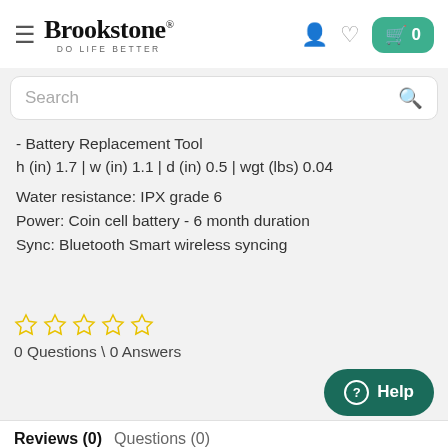[Figure (logo): Brookstone logo with hamburger menu icon, tagline DO LIFE BETTER, and header icons (user, heart, cart with 0)]
Search
- Battery Replacement Tool
h (in) 1.7 | w (in) 1.1 | d (in) 0.5 | wgt (lbs) 0.04
Water resistance: IPX grade 6
Power: Coin cell battery - 6 month duration
Sync: Bluetooth Smart wireless syncing
[Figure (other): Five empty star rating icons (yellow outlines)]
0 Questions \ 0 Answers
[Figure (other): Help button, dark teal rounded rectangle with question mark circle and Help text]
Reviews (0)   Questions (0)